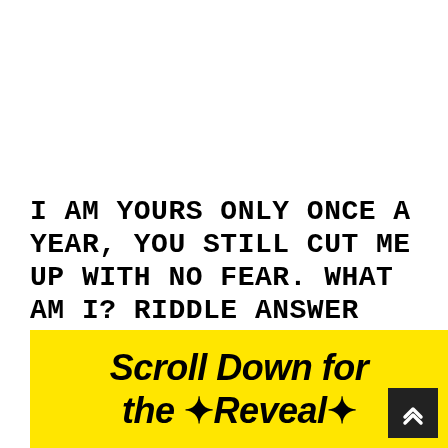I AM YOURS ONLY ONCE A YEAR, YOU STILL CUT ME UP WITH NO FEAR. WHAT AM I? RIDDLE ANSWER
[Figure (infographic): Yellow banner with bold black text reading 'Scroll Down for the *Reveal*' with star decorations, and a dark scroll-up button in the bottom right corner.]